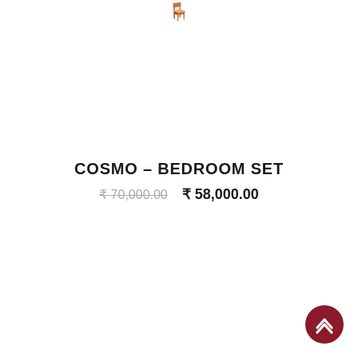COSMO – BEDROOM SET
₹ 70,000.00  ₹ 58,000.00